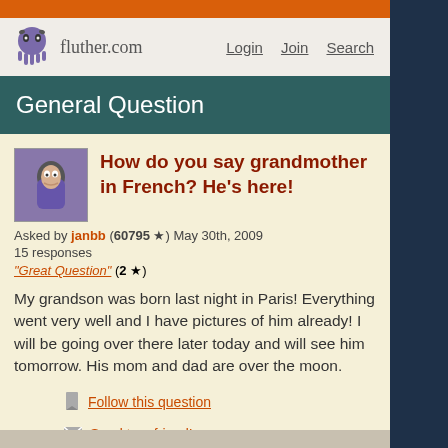fluther.com  Login  Join  Search
General Question
How do you say grandmother in French? He's here!
Asked by janbb (60795 ★) May 30th, 2009
15 responses
"Great Question" (2 ★)
My grandson was born last night in Paris! Everything went very well and I have pictures of him already! I will be going over there later today and will see him tomorrow. His mom and dad are over the moon.
Follow this question
Send to a friend!
Topics: babies, French